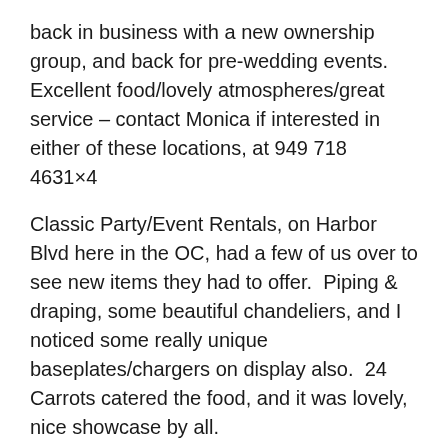back in business with a new ownership group, and back for pre-wedding events.  Excellent food/lovely atmospheres/great service – contact Monica if interested in either of these locations, at 949 718 4631×4
Classic Party/Event Rentals, on Harbor Blvd here in the OC, had a few of us over to see new items they had to offer.  Piping & draping, some beautiful chandeliers, and I noticed some really unique baseplates/chargers on display also.  24 Carrots catered the food, and it was lovely, nice showcase by all.
Didn't make it to an event at Erin Cole Couture where selections from Vera Wang were being celebrated.  Busy with a couple meeting with florists, that took longer than it should have, but well worth it, they love their choice and how their vision is becoming a reality.